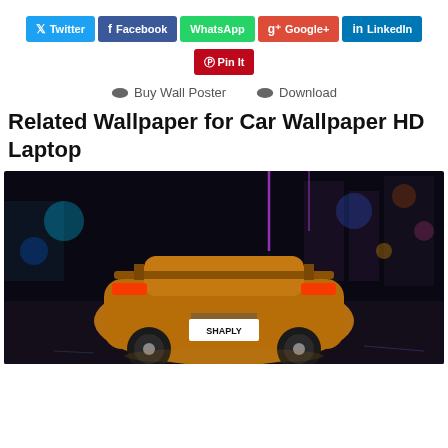Twitter
Facebook
WhatsApp
Google+
LinkedIn
Pin It
Buy Wall Poster   Download
Related Wallpaper for Car Wallpaper HD Laptop
[Figure (photo): Rear view of a golden/orange sports car (Mazda RX-7 style) with license plate SHAPLY, photographed at night in a city with colorful bokeh lights in the background — neon blues, pinks, and oranges]